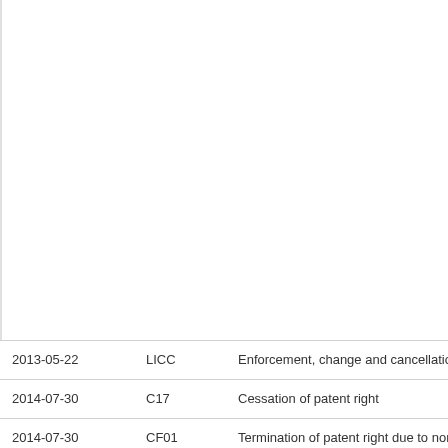| Date | Code | Description |
| --- | --- | --- |
| 2013-05-22 | LICC | Enforcement, change and cancellation of rec |
| 2014-07-30 | C17 | Cessation of patent right |
| 2014-07-30 | CF01 | Termination of patent right due to non-payme |